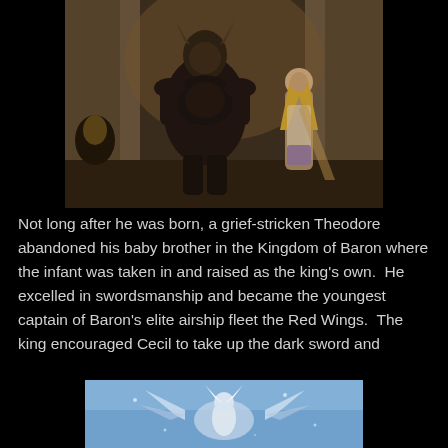[Figure (illustration): A large armored warrior figure with horned helmet standing in a castle hall, with a blonde woman in light clothing standing behind him.]
Not long after he was born, a grief-stricken Theodore abandoned his baby brother in the Kingdom of Baron where the infant was taken in and raised as the king's own.  He excelled in swordsmanship and became the youngest captain of Baron's elite airship fleet the Red Wings.  The king encouraged Cecil to take up the dark sword and
[Figure (illustration): A fantasy character with wings in a light blue/icy scene, partially visible at the bottom of the page.]